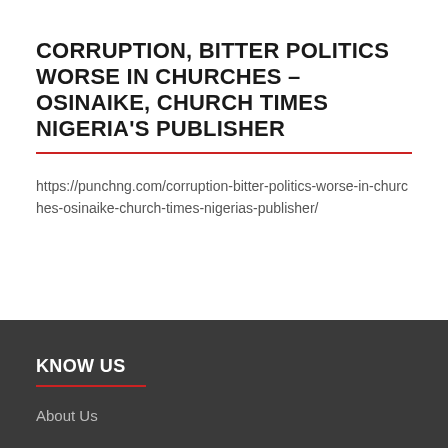CORRUPTION, BITTER POLITICS WORSE IN CHURCHES – OSINAIKE, CHURCH TIMES NIGERIA'S PUBLISHER
https://punchng.com/corruption-bitter-politics-worse-in-churches-osinaike-church-times-nigerias-publisher/
KNOW US
About Us